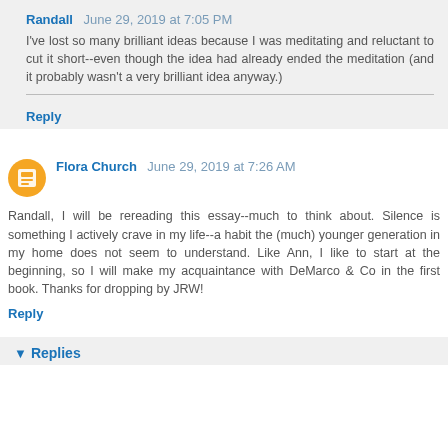Randall June 29, 2019 at 7:05 PM
I've lost so many brilliant ideas because I was meditating and reluctant to cut it short--even though the idea had already ended the meditation (and it probably wasn't a very brilliant idea anyway.)
Reply
Flora Church June 29, 2019 at 7:26 AM
Randall, I will be rereading this essay--much to think about. Silence is something I actively crave in my life--a habit the (much) younger generation in my home does not seem to understand. Like Ann, I like to start at the beginning, so I will make my acquaintance with DeMarco & Co in the first book. Thanks for dropping by JRW!
Reply
Replies